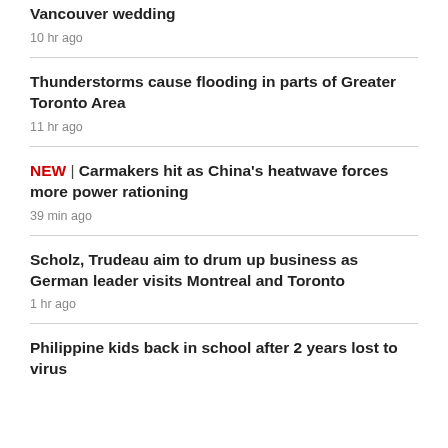Vancouver wedding
10 hr ago
Thunderstorms cause flooding in parts of Greater Toronto Area
11 hr ago
NEW | Carmakers hit as China's heatwave forces more power rationing
39 min ago
Scholz, Trudeau aim to drum up business as German leader visits Montreal and Toronto
1 hr ago
Philippine kids back in school after 2 years lost to virus